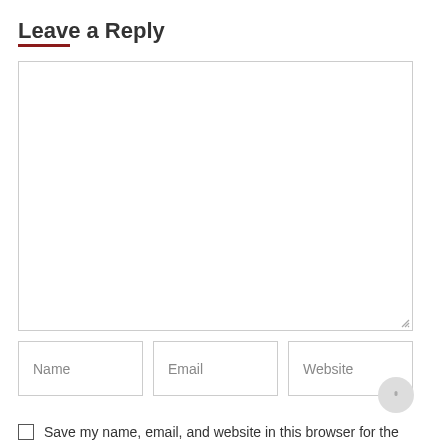Leave a Reply
[Figure (other): Red horizontal decorative line divider]
[Figure (other): Large empty comment textarea with resize handle at bottom-right]
[Figure (other): Three input fields labeled Name, Email, Website arranged in a row, with a circular scroll-to-top button overlaid on the right side]
Save my name, email, and website in this browser for the